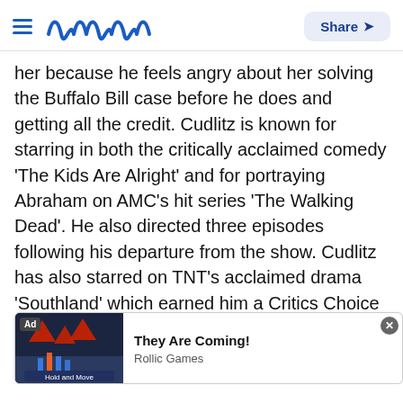Meaww — Share
her because he feels angry about her solving the Buffalo Bill case before he does and getting all the credit. Cudlitz is known for starring in both the critically acclaimed comedy 'The Kids Are Alright' and for portraying Abraham on AMC's hit series 'The Walking Dead'. He also directed three episodes following his departure from the show. Cudlitz has also starred on TNT's acclaimed drama 'Southland' which earned him a Critics Choice Award for Best Supporting Actor in a Drama Series. His other television credits include 'Lost', 'Prison Break', 'Six Feet Under', 'Nip/Tuck', '24' and the Emmy Award-winning mini-series 'Band of Brothers'. Cudlitz has appeared in more than 20 films, like 'A River Runs Through It' and 'Gross Pointe Blank'. [ad overlay] lm 'Driven'
[Figure (screenshot): Advertisement overlay: game ad for 'They Are Coming!' by Rollic Games with a dark game image showing red triangles and an 'Ad' badge. Close button X in top right.]